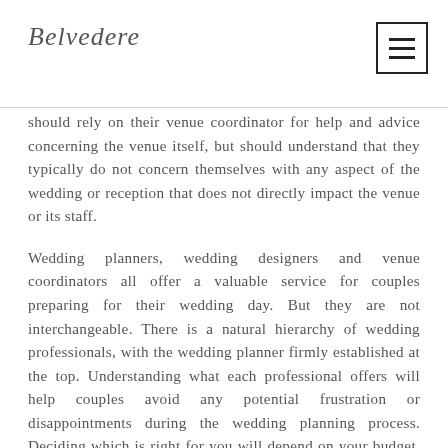Belvedere
should rely on their venue coordinator for help and advice concerning the venue itself, but should understand that they typically do not concern themselves with any aspect of the wedding or reception that does not directly impact the venue or its staff.
Wedding planners, wedding designers and venue coordinators all offer a valuable service for couples preparing for their wedding day. But they are not interchangeable. There is a natural hierarchy of wedding professionals, with the wedding planner firmly established at the top. Understanding what each professional offers will help couples avoid any potential frustration or disappointments during the wedding planning process. Deciding which is right for you will depend on your budget, and how hands-on you want to